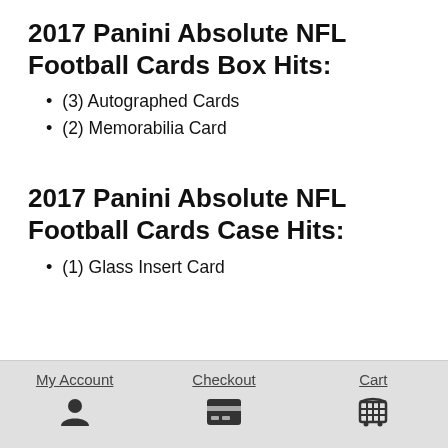2017 Panini Absolute NFL Football Cards Box Hits:
(3) Autographed Cards
(2) Memorabilia Card
2017 Panini Absolute NFL Football Cards Case Hits:
(1) Glass Insert Card
My Account | Checkout | Cart